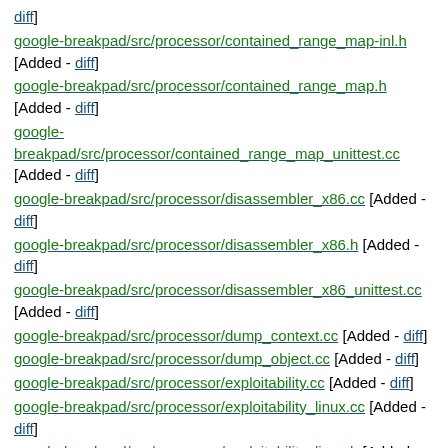diff]
google-breakpad/src/processor/contained_range_map-inl.h [Added - diff]
google-breakpad/src/processor/contained_range_map.h [Added - diff]
google-breakpad/src/processor/contained_range_map_unittest.cc [Added - diff]
google-breakpad/src/processor/disassembler_x86.cc [Added - diff]
google-breakpad/src/processor/disassembler_x86.h [Added - diff]
google-breakpad/src/processor/disassembler_x86_unittest.cc [Added - diff]
google-breakpad/src/processor/dump_context.cc [Added - diff]
google-breakpad/src/processor/dump_object.cc [Added - diff]
google-breakpad/src/processor/exploitability.cc [Added - diff]
google-breakpad/src/processor/exploitability_linux.cc [Added - diff]
google-breakpad/src/processor/exploitability_linux.h [Added -